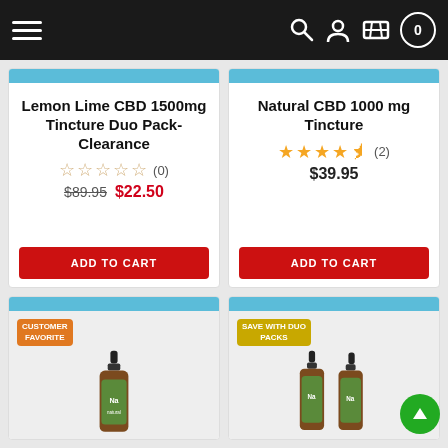Navigation bar with hamburger menu, search, account, cart, and count icons
Lemon Lime CBD 1500mg Tincture Duo Pack- Clearance
Rating: 0 reviews. Original price $89.95, Sale price $22.50
ADD TO CART
Natural CBD 1000 mg Tincture
Rating: 4.5 stars, 2 reviews. Price $39.95
ADD TO CART
[Figure (photo): CBD tincture bottle with Customer Favorite badge]
[Figure (photo): Two CBD tincture bottles with Save With Duo Packs badge]